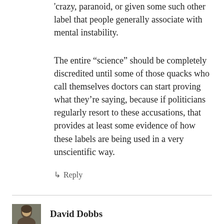'crazy, paranoid, or given some such other label that people generally associate with mental instability.
The entire “science” should be completely discredited until some of those quacks who call themselves doctors can start proving what they’re saying, because if politicians regularly resort to these accusations, that provides at least some evidence of how these labels are being used in a very unscientific way.
↳ Reply
David Dobbs